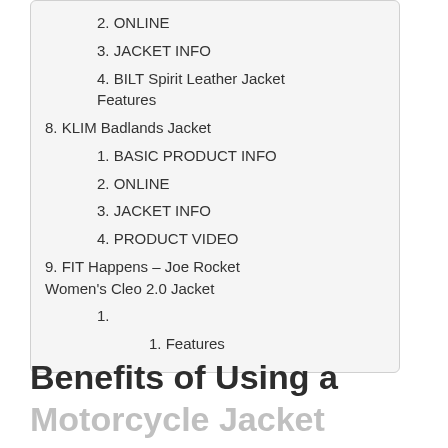2. ONLINE
3. JACKET INFO
4. BILT Spirit Leather Jacket Features
8. KLIM Badlands Jacket
1. BASIC PRODUCT INFO
2. ONLINE
3. JACKET INFO
4. PRODUCT VIDEO
9. FIT Happens – Joe Rocket Women's Cleo 2.0 Jacket
1.
1. Features
Benefits of Using a Motorcycle Jacket